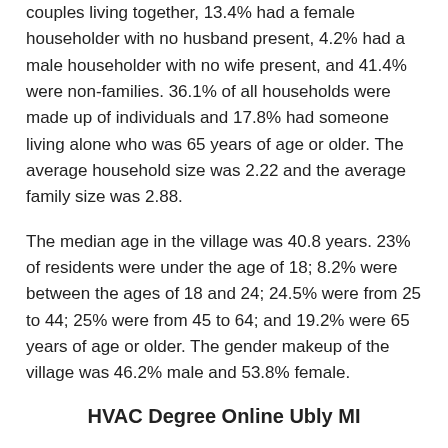couples living together, 13.4% had a female householder with no husband present, 4.2% had a male householder with no wife present, and 41.4% were non-families. 36.1% of all households were made up of individuals and 17.8% had someone living alone who was 65 years of age or older. The average household size was 2.22 and the average family size was 2.88.
The median age in the village was 40.8 years. 23% of residents were under the age of 18; 8.2% were between the ages of 18 and 24; 24.5% were from 25 to 44; 25% were from 45 to 64; and 19.2% were 65 years of age or older. The gender makeup of the village was 46.2% male and 53.8% female.
HVAC Degree Online Ubly MI
Picking the right HVAC training course is a critical first step toward a fulfilling career in the heating & cooling trade. You